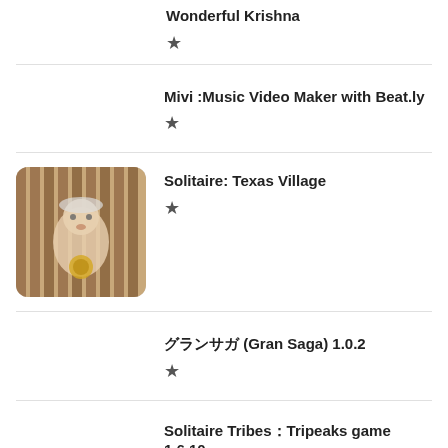Wonderful Krishna
★
Mivi :Music Video Maker with Beat.ly
★
Solitaire: Texas Village
★
グランサガ (Gran Saga) 1.0.2
★
Solitaire Tribes：Tripeaks game 1.6.10
★ 4.9